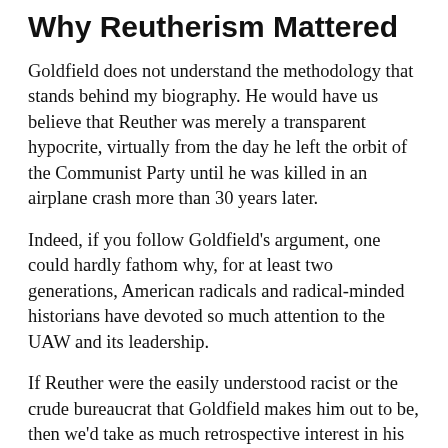Why Reutherism Mattered
Goldfield does not understand the methodology that stands behind my biography. He would have us believe that Reuther was merely a transparent hypocrite, virtually from the day he left the orbit of the Communist Party until he was killed in an airplane crash more than 30 years later.
Indeed, if you follow Goldfield's argument, one could hardly fathom why, for at least two generations, American radicals and radical-minded historians have devoted so much attention to the UAW and its leadership.
If Reuther were the easily understood racist or the crude bureaucrat that Goldfield makes him out to be, then we'd take as much retrospective interest in his career as we do in that of Daniel Tobin, who presided over the Teamsters during the Roosevelt years, or David J. McDonald, whose presidency of the